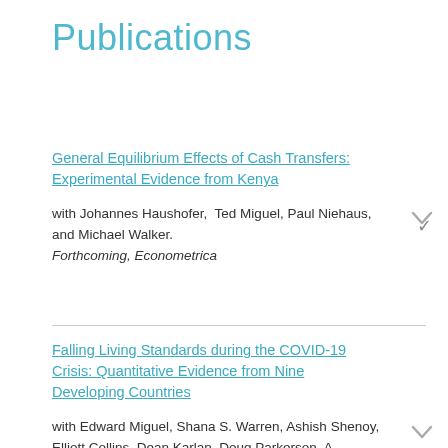Publications
General Equilibrium Effects of Cash Transfers: Experimental Evidence from Kenya
with Johannes Haushofer,  Ted Miguel, Paul Niehaus, and Michael Walker.
Forthcoming, Econometrica
Falling Living Standards during the COVID-19 Crisis: Quantitative Evidence from Nine Developing Countries
with Edward Miguel, Shana S. Warren, Ashish Shenoy, Elliott Collins, Dean Karlan, Doug Parkerson, A. Mushfiq Mobarak, Günther Fink, Christopher Udry, Michael Walker, Johannes Haushofer, Magdalena...